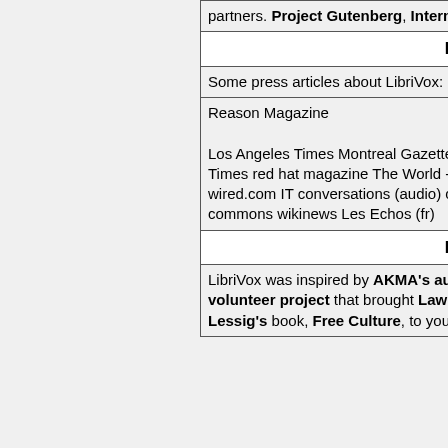| partners. Project Gutenberg, Internet Archive. |  |
| In the Press |  |
| Some press articles about LibriVox: | アLibriVoxアアアアア |
| Reason Magazine
Los Angeles Times
Montreal Gazette New York Times red hat magazine The World - BBC Radio wired.com IT conversations (audio) creative commons wikinews Les Echos (fr) | NO NEED TO TRANSLATE |
| Inspirations |  |
| LibriVox was inspired by AKMA's audio volunteer project that brought Lawrence Lessig's book, Free Culture, to your ears. | LibriVoxアアアAKMAアアアアアアLawrence Lessアアアアアアアアアア |